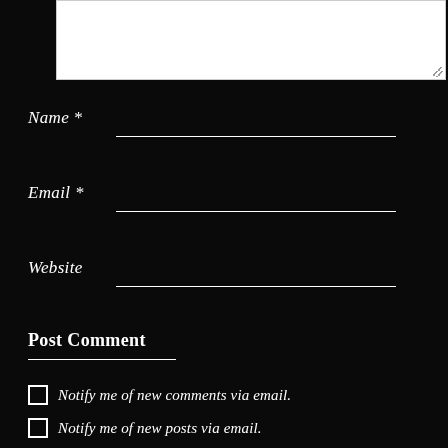[Figure (screenshot): White textarea input box (partially visible at top of page)]
Name *
Email *
Website
Post Comment
Notify me of new comments via email.
Notify me of new posts via email.